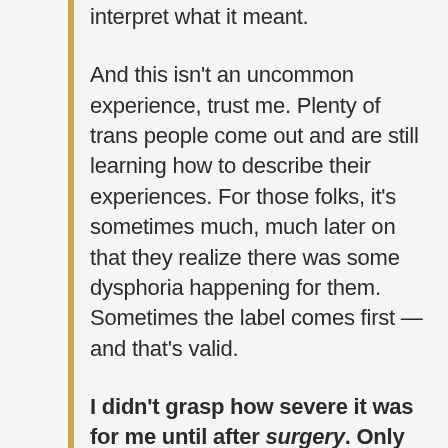interpret what it meant.
And this isn't an uncommon experience, trust me. Plenty of trans people come out and are still learning how to describe their experiences. For those folks, it's sometimes much, much later on that they realize there was some dysphoria happening for them. Sometimes the label comes first — and that's valid.
I didn't grasp how severe it was for me until after surgery. Only